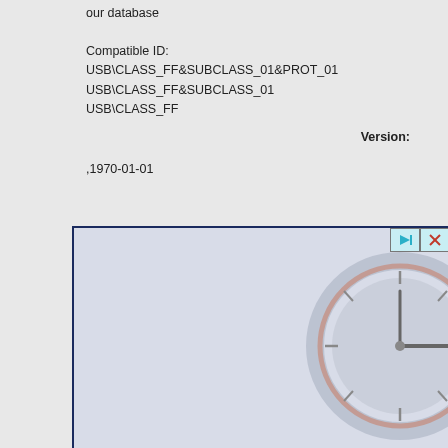our database
Compatible ID:
USB\CLASS_FF&SUBCLASS_01&PROT_01
USB\CLASS_FF&SUBCLASS_01
USB\CLASS_FF
Version:
,1970-01-01
[Figure (screenshot): An advertisement or media player box with a dark blue border, light blue-gray background, play and close buttons in the top-right corner, and a clock graphic on the right side showing approximately 3 o'clock.]